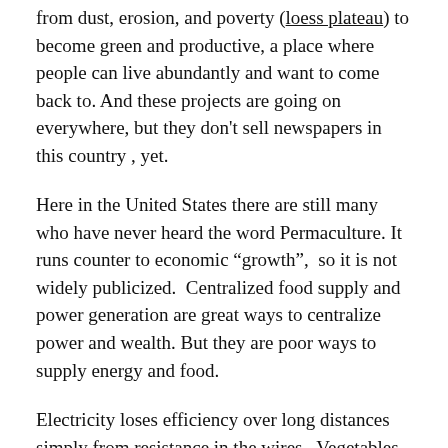from dust, erosion, and poverty (loess plateau) to become green and productive, a place where people can live abundantly and want to come back to. And these projects are going on everywhere, but they don't sell newspapers in this country , yet.
Here in the United States there are still many who have never heard the word Permaculture. It runs counter to economic “growth”,  so it is not widely publicized.  Centralized food supply and power generation are great ways to centralize power and wealth. But they are poor ways to supply energy and food.
Electricity loses efficiency over long distances simply from resistance in the wires.  Vegetables are no longer fresh within a few hours of picking.  Hard green tomatoes may ship better, but they certainly